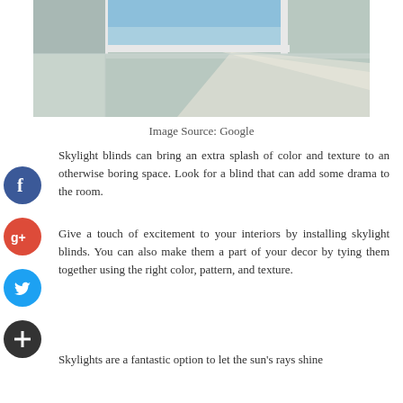[Figure (photo): Interior view looking up at a skylight in a room corner, showing bright sky through the window frame and a diagonal shaft of light on the ceiling/wall.]
Image Source: Google
Skylight blinds can bring an extra splash of color and texture to an otherwise boring space. Look for a blind that can add some drama to the room.
Give a touch of excitement to your interiors by installing skylight blinds. You can also make them a part of your decor by tying them together using the right color, pattern, and texture.
Skylights are a fantastic option to let the sun's rays shine through and can add interest to the room.